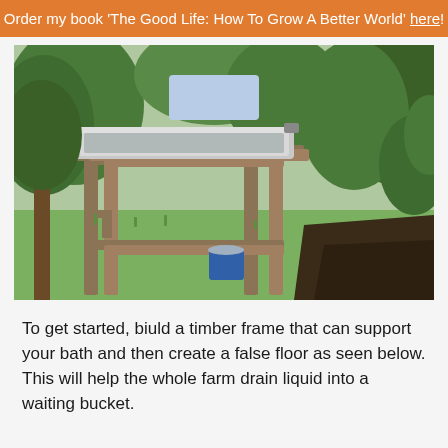Order my book 'The Good Life: How To Grow A Better World' here!
[Figure (photo): A wooden timber frame supporting a metal bathtub elevated off the ground in a garden orchard setting. Below the bath is a blue bucket. Green grass and trees visible in the background, with dark compost soil on the right side.]
To get started, biuld a timber frame that can support your bath and then create a false floor as seen below. This will help the whole farm drain liquid into a waiting bucket.